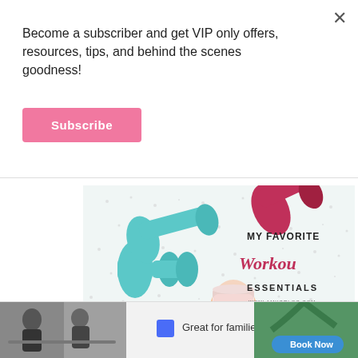Become a subscriber and get VIP only offers, resources, tips, and behind the scenes goodness!
Subscribe
[Figure (photo): Hero image showing teal and pink dumbbells with a smoothie drink, overlaid with text: MY FAVORITE Workout ESSENTIALS WWW.AMYGRLOC.COM]
FASHION
FITNESS
My Favorite Workout Gear Essentials
[Figure (screenshot): Advertisement banner: Great for families, with Book Now button and a play icon, showing people dining at a table and tropical scenery]